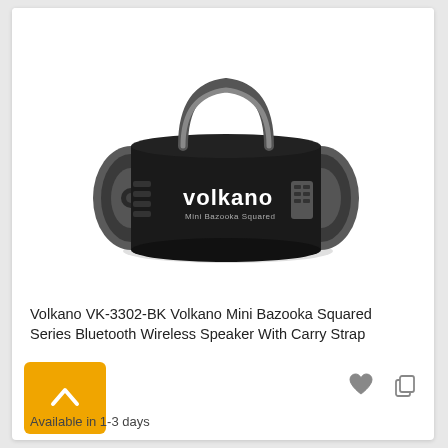[Figure (photo): Product photo of Volkano VK-3302-BK Mini Bazooka Squared Bluetooth wireless speaker — a cylindrical black speaker with grey plastic end caps, a black carry strap on top, and control buttons on the right side. The Volkano brand name is printed in white on the body.]
Volkano VK-3302-BK Volkano Mini Bazooka Squared Series Bluetooth Wireless Speaker With Carry Strap
9
Available in 1-3 days